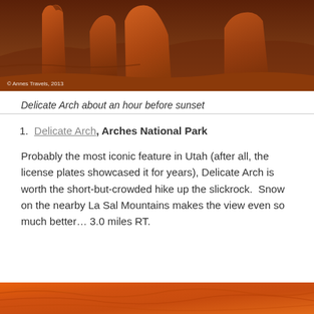[Figure (photo): Red sandstone rock formations at Arches National Park, photographed about an hour before sunset. Tall fin-like orange-red rock spires against a warm sky. Copyright watermark reads '© Annes Travels, 2013'.]
Delicate Arch about an hour before sunset
1. Delicate Arch, Arches National Park
Probably the most iconic feature in Utah (after all, the license plates showcased it for years), Delicate Arch is worth the short-but-crowded hike up the slickrock.  Snow on the nearby La Sal Mountains makes the view even so much better… 3.0 miles RT.
[Figure (photo): Close-up of smooth orange-red sandstone surface with undulating wave-like erosion patterns, warm orange tones.]